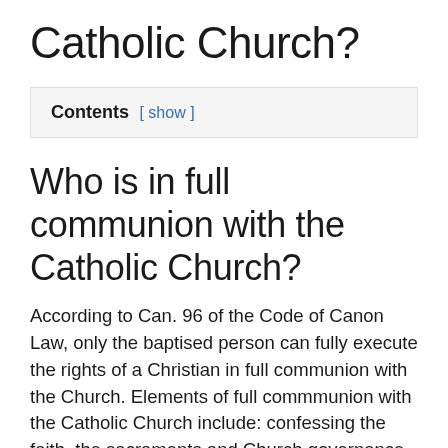Catholic Church?
| Contents | [ show ] |
| --- | --- |
Who is in full communion with the Catholic Church?
According to Can. 96 of the Code of Canon Law, only the baptised person can fully execute the rights of a Christian in full communion with the Church. Elements of full commmunion with the Catholic Church include: confessing the faith, the sacraments and Church governance (pastoral leadership) (cf.